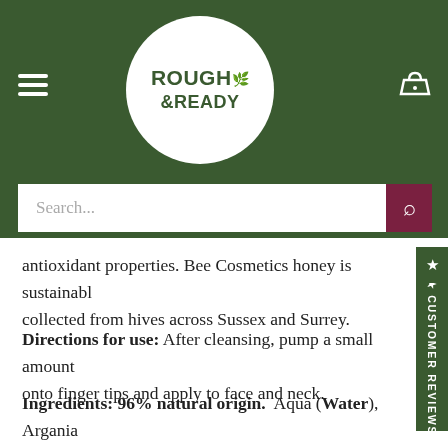[Figure (logo): Rough and Ready brand logo in a white circle on dark green background]
antioxidant properties. Bee Cosmetics honey is sustainably collected from hives across Sussex and Surrey.
Directions for use: After cleansing, pump a small amount onto finger tips and apply to face and neck.
Ingredients: 96% natural origin.  Aqua (Water), Argania Spinosa Kernel (Argan Oil), Olea Europaea (Olive Oil), Prunus Amygdalus Dulcis (Sweet Almond Oil), Glyceryl Stearate SE, Glyceryl Stearate, PEG100 Stearate, Stearic